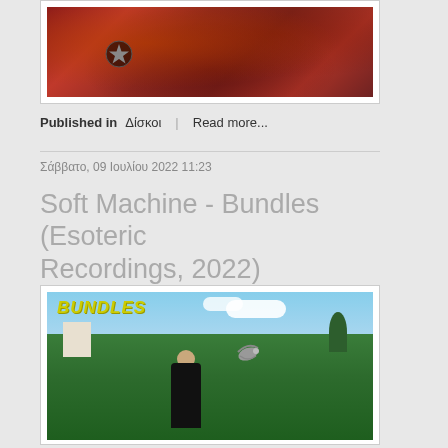[Figure (photo): Red/orange abstract floral or psychedelic album artwork with a dark star symbol visible on the left side]
Published in  Δίσκοι  |  Read more...
Σάββατο, 09 Ιουλίου 2022 11:23
Soft Machine - Bundles (Esoteric Recordings, 2022)
[Figure (photo): Album cover for Bundles by Soft Machine (Esoteric Recordings, 2022). Shows a pastoral garden scene with a figure in black releasing a dove, surrounded by lush green plants. The word BUNDLES appears in yellow italic text at the top left.]